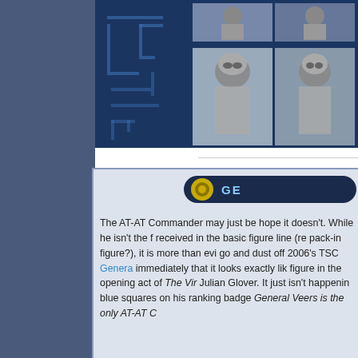[Figure (photo): Left navigation/sidebar panel with dark blue-grey background and tech circuit pattern]
[Figure (photo): Top image area showing Star Wars action figures - AT-AT Commander figures in a grid layout with blue sci-fi background]
[Figure (infographic): Content box with blue header badge showing Jedi symbol and 'GE...' text, followed by review text about AT-AT Commander figure]
The AT-AT Commander may just be hope it doesn't. While he isn't the f received in the basic figure line (re pack-in figure?), it is more than evi go and dust off 2006's TSC Genera immediately that it looks exactly lik figure in the opening act of The Vir Julian Glover. It just isn't happenin blue squares on his ranking badge General Veers is the only AT-AT C